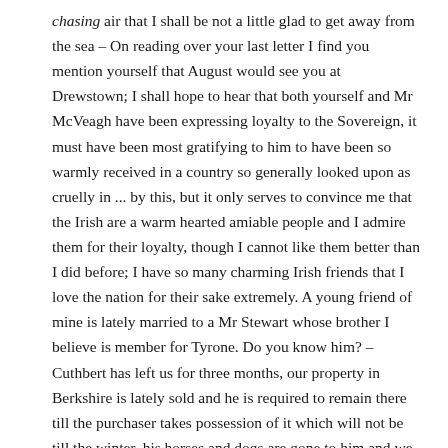chasing air that I shall be not a little glad to get away from the sea – On reading over your last letter I find you mention yourself that August would see you at Drewstown; I shall hope to hear that both yourself and Mr McVeagh have been expressing loyalty to the Sovereign, it must have been most gratifying to him to have been so warmly received in a country so generally looked upon as cruelly in ... by this, but it only serves to convince me that the Irish are a warm hearted amiable people and I admire them for their loyalty, though I cannot like them better than I did before; I have so many charming Irish friends that I love the nation for their sake extremely. A young friend of mine is lately married to a Mr Stewart whose brother I believe is member for Tyrone. Do you know him? – Cuthbert has left us for three months, our property in Berkshire is lately sold and he is required to remain there till the purchaser takes possession of it which will not be till the winter, his horses and dogs are gone to him and we are left alone, we miss him not a little but e is enjoying himself so much that we ought not to regret his